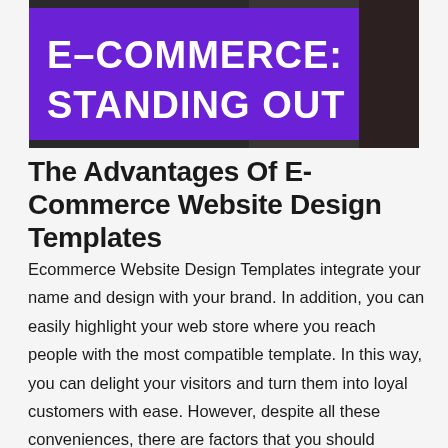[Figure (photo): Banner image with purple overlay showing bold white text reading 'E-COMMERCE: STANDING OUT' with a person in the background]
The Advantages Of E-Commerce Website Design Templates
Ecommerce Website Design Templates integrate your name and design with your brand. In addition, you can easily highlight your web store where you reach people with the most compatible template. In this way, you can delight your visitors and turn them into loyal customers with ease. However, despite all these conveniences, there are factors that you should consider when choosing a website design template for your store.